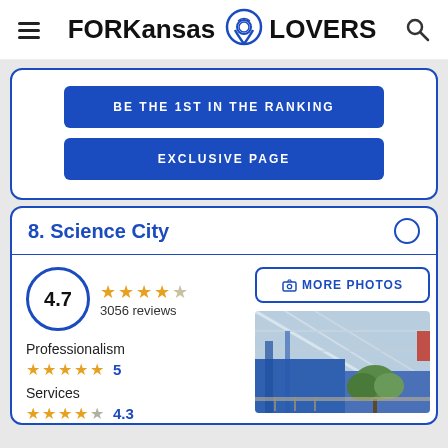FOR Kansas LOVERS
BE THE 1ST IN THE RANKING
EXCLUSIVE PAGE
8. Science City
4.7
3056 reviews
Professionalism ★★★★★ 5
Services ★★★★☆ 4.3
[Figure (photo): Interior photo of Science City showing blue structure and trees under a glass ceiling]